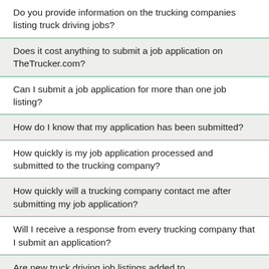Do you provide information on the trucking companies listing truck driving jobs?
Does it cost anything to submit a job application on TheTrucker.com?
Can I submit a job application for more than one job listing?
How do I know that my application has been submitted?
How quickly is my job application processed and submitted to the trucking company?
How quickly will a trucking company contact me after submitting my job application?
Will I receive a response from every trucking company that I submit an application?
Are new truck driving job listings added to